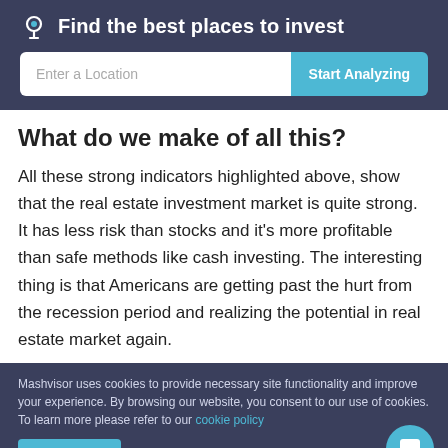Find the best places to invest
What do we make of all this?
All these strong indicators highlighted above, show that the real estate investment market is quite strong. It has less risk than stocks and it's more profitable than safe methods like cash investing. The interesting thing is that Americans are getting past the hurt from the recession period and realizing the potential in real estate market again.
Mashvisor uses cookies to provide necessary site functionality and improve your experience. By browsing our website, you consent to our use of cookies. To learn more please refer to our cookie policy